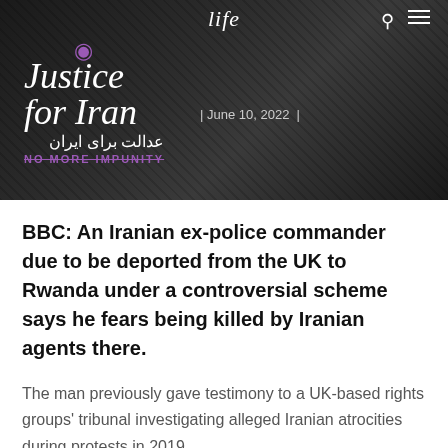[Figure (photo): Dark background header image with a website header showing 'life' in italic serif font, search and menu icons, and the Justice for Iran logo with eye symbol, Persian text, and 'NO MORE IMPUNITY' tagline. Date reads June 10, 2022.]
life | June 10, 2022 |
BBC: An Iranian ex-police commander due to be deported from the UK to Rwanda under a controversial scheme says he fears being killed by Iranian agents there.
The man previously gave testimony to a UK-based rights groups' tribunal investigating alleged Iranian atrocities during protests in 2019.